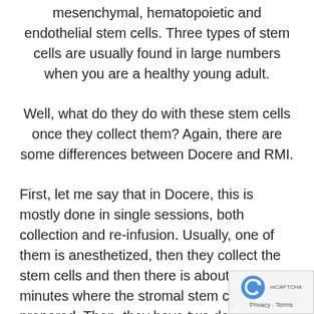mesenchymal, hematopoietic and endothelial stem cells. Three types of stem cells are usually found in large numbers when you are a healthy young adult.
Well, what do they do with these stem cells once they collect them? Again, there are some differences between Docere and RMI.
First, let me say that in Docere, this is mostly done in single sessions, both collection and re-infusion. Usually, one of them is anesthetized, then they collect the stem cells and then there is about 45 minutes where the stromal stem cells are prepared. Then, they have two doctors working in tandem to inject the stem cells back into different parts of the body. They can inject stem cells back into nearly every joint, your shou elbows, wrists, thumbs, hips, knees, ankles ar toe. They can inject stem cells into your entire